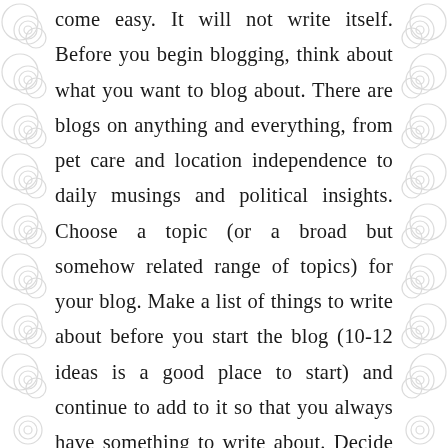come easy. It will not write itself. Before you begin blogging, think about what you want to blog about. There are blogs on anything and everything, from pet care and location independence to daily musings and political insights. Choose a topic (or a broad but somehow related range of topics) for your blog. Make a list of things to write about before you start the blog (10-12 ideas is a good place to start) and continue to add to it so that you always have something to write about. Decide how often you want to post. Once a week is a fairly reasonable goal to begin with; ease into more posts as you get used to the process. If you don't know what to write about